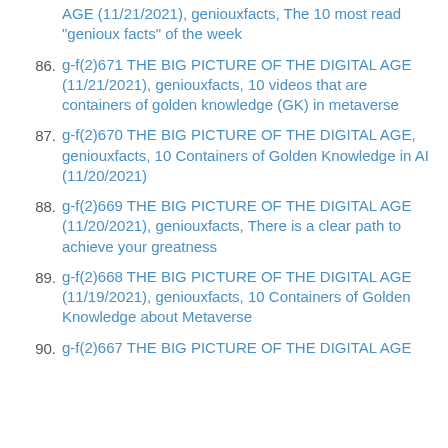AGE (11/21/2021), geniouxfacts, The 10 most read "genioux facts" of the week
86. g-f(2)671 THE BIG PICTURE OF THE DIGITAL AGE (11/21/2021), geniouxfacts, 10 videos that are containers of golden knowledge (GK) in metaverse
87. g-f(2)670 THE BIG PICTURE OF THE DIGITAL AGE, geniouxfacts, 10 Containers of Golden Knowledge in AI (11/20/2021)
88. g-f(2)669 THE BIG PICTURE OF THE DIGITAL AGE (11/20/2021), geniouxfacts, There is a clear path to achieve your greatness
89. g-f(2)668 THE BIG PICTURE OF THE DIGITAL AGE (11/19/2021), geniouxfacts, 10 Containers of Golden Knowledge about Metaverse
90. g-f(2)667 THE BIG PICTURE OF THE DIGITAL AGE